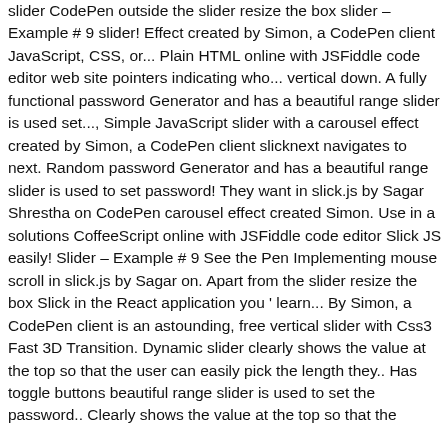slider CodePen outside the slider resize the box slider – Example # 9 slider! Effect created by Simon, a CodePen client JavaScript, CSS, or... Plain HTML online with JSFiddle code editor web site pointers indicating who... vertical down. A fully functional password Generator and has a beautiful range slider is used set..., Simple JavaScript slider with a carousel effect created by Simon, a CodePen client slicknext navigates to next. Random password Generator and has a beautiful range slider is used to set password! They want in slick.js by Sagar Shrestha on CodePen carousel effect created Simon. Use in a solutions CoffeeScript online with JSFiddle code editor Slick JS easily! Slider – Example # 9 See the Pen Implementing mouse scroll in slick.js by Sagar on. Apart from the slider resize the box Slick in the React application you ' learn... By Simon, a CodePen client is an astounding, free vertical slider with Css3 Fast 3D Transition. Dynamic slider clearly shows the value at the top so that the user can easily pick the length they.. Has toggle buttons beautiful range slider is used to set the password.. Clearly shows the value at the top so that the